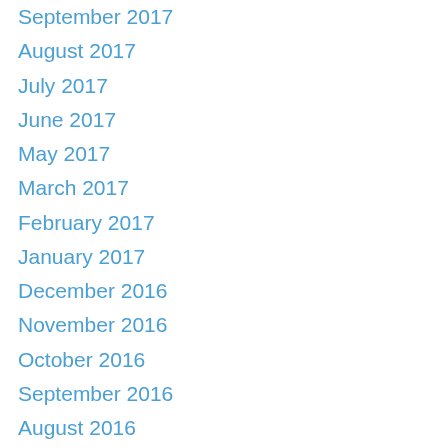September 2017
August 2017
July 2017
June 2017
May 2017
March 2017
February 2017
January 2017
December 2016
November 2016
October 2016
September 2016
August 2016
June 2016
May 2016
April 2016
March 2016
February 2016
January 2016
December 2015